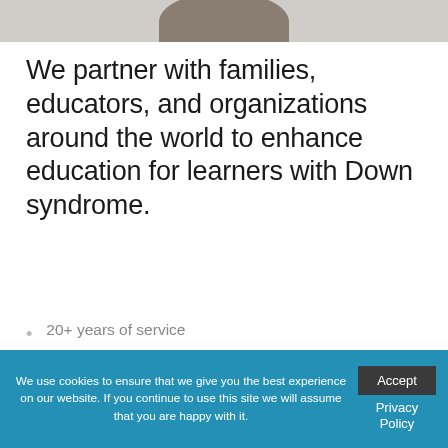[Figure (photo): Partial top of a person's head/photo, cropped at the top of the page]
We partner with families, educators, and organizations around the world to enhance education for learners with Down syndrome.
20+ years of service
Developer of face-to-face and online platforms to share educational strategies, resources and activities
Member of NDSC's Center for Outreach & Education
We use cookies to ensure that we give you the best experience on our website. If you continue to use this site we will assume that you are happy with it.